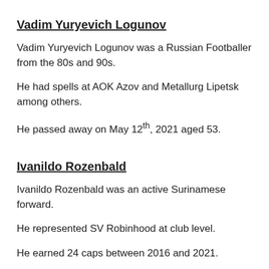Vadim Yuryevich Logunov
Vadim Yuryevich Logunov was a Russian Footballer from the 80s and 90s.
He had spells at AOK Azov and Metallurg Lipetsk among others.
He passed away on May 12th, 2021 aged 53.
Ivanildo Rozenbald
Ivanildo Rozenbald was an active Surinamese forward.
He represented SV Robinhood at club level.
He earned 24 caps between 2016 and 2021.